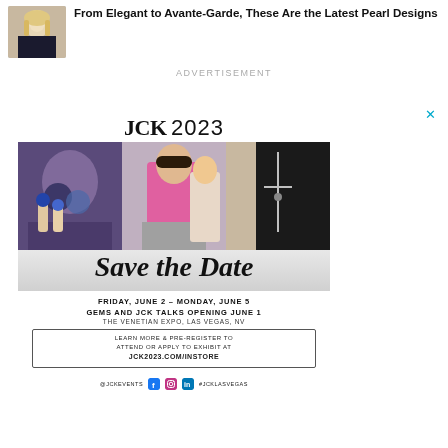[Figure (photo): Thumbnail image of a woman wearing a pearl necklace]
From Elegant to Avante-Garde, These Are the Latest Pearl Designs
ADVERTISEMENT
[Figure (infographic): JCK 2023 advertisement with photos of jewelry events, 'Save the Date' script text, event details: Friday, June 2 – Monday, June 5, GEMS AND JCK TALKS OPENING JUNE 1, THE VENETIAN EXPO, LAS VEGAS, NV. Learn more & pre-register to attend or apply to exhibit at JCK2023.COM/INSTORE. @JCKEVENTS #JCKLASVEGAS]